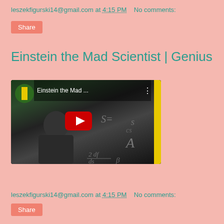leszekfigurski14@gmail.com at 4:15 PM    No comments:
Share
Einstein the Mad Scientist | Genius
[Figure (screenshot): YouTube video thumbnail showing a person writing equations on a blackboard. Video title reads 'Einstein the Mad ...' with National Geographic logo visible. Red YouTube play button centered on dark video frame. Yellow bar on right side.]
leszekfigurski14@gmail.com at 4:15 PM    No comments:
Share